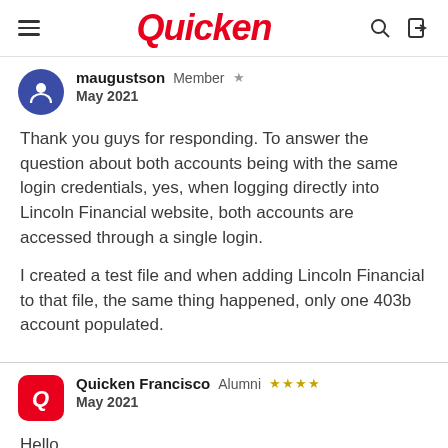Quicken
maugustson  Member  ★
May 2021
Thank you guys for responding. To answer the question about both accounts being with the same login credentials, yes, when logging directly into Lincoln Financial website, both accounts are accessed through a single login.

I created a test file and when adding Lincoln Financial to that file, the same thing happened, only one 403b account populated.
Quicken Francisco  Alumni  ★★★★
May 2021
Hello,